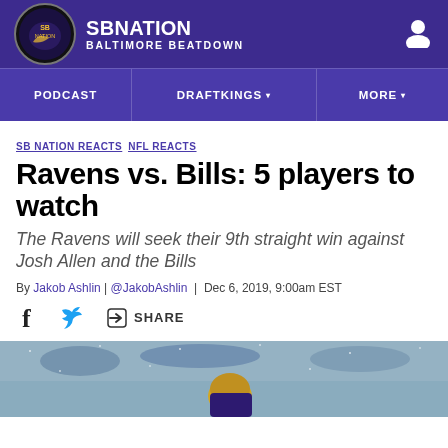SB NATION / BALTIMORE BEATDOWN
PODCAST | DRAFTKINGS | MORE
SB NATION REACTS NFL REACTS
Ravens vs. Bills: 5 players to watch
The Ravens will seek their 9th straight win against Josh Allen and the Bills
By Jakob Ashlin | @JakobAshlin | Dec 6, 2019, 9:00am EST
SHARE
[Figure (photo): Football player in Ravens uniform, action shot in snowy/rainy conditions]